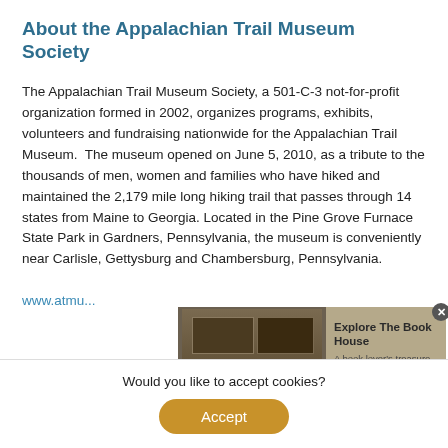About the Appalachian Trail Museum Society
The Appalachian Trail Museum Society, a 501-C-3 not-for-profit organization formed in 2002, organizes programs, exhibits, volunteers and fundraising nationwide for the Appalachian Trail Museum.  The museum opened on June 5, 2010, as a tribute to the thousands of men, women and families who have hiked and maintained the 2,179 mile long hiking trail that passes through 14 states from Maine to Georgia. Located in the Pine Grove Furnace State Park in Gardners, Pennsylvania, the museum is conveniently near Carlisle, Gettysburg and Chambersburg, Pennsylvania.
www.atmu...
[Figure (screenshot): Advertisement overlay showing a book house storefront image with text 'Explore The Book House' and 'A book lover's treasure trove' on a tan/brown background, with a close (x) button]
Would you like to accept cookies?
Accept